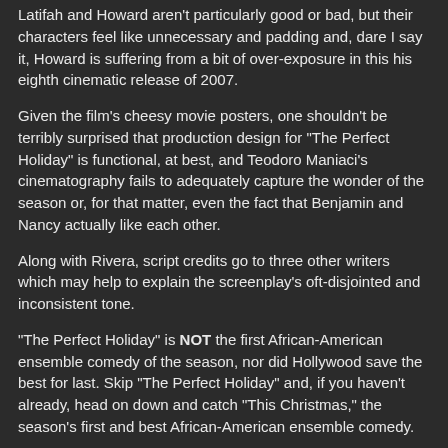Latifah and Howard aren't particularly good or bad, but their characters feel like unnecessary and padding and, dare I say it, Howard is suffering from a bit of over-exposure in this his eighth cinematic release of 2007.
Given the film's cheesy movie posters, one shouldn't be terribly surprised that production design for "The Perfect Holiday" is functional, at best, and Teodoro Maniaci's cinematography fails to adequately capture the wonder of the season or, for that matter, even the fact that Benjamin and Nancy actually like each other.
Along with Rivera, script credits go to three other writers which may help to explain the screenplay's oft-disjointed and inconsistent tone.
"The Perfect Holiday" is NOT the first African-American ensemble comedy of the season, nor did Hollywood save the best for last. Skip "The Perfect Holiday" and, if you haven't already, head on down and catch "This Christmas," the season's first and best African-American ensemble comedy.